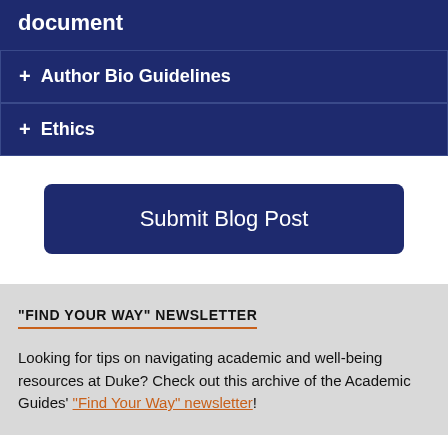document
+ Author Bio Guidelines
+ Ethics
Submit Blog Post
"FIND YOUR WAY" NEWSLETTER
Looking for tips on navigating academic and well-being resources at Duke? Check out this archive of the Academic Guides' "Find Your Way" newsletter!